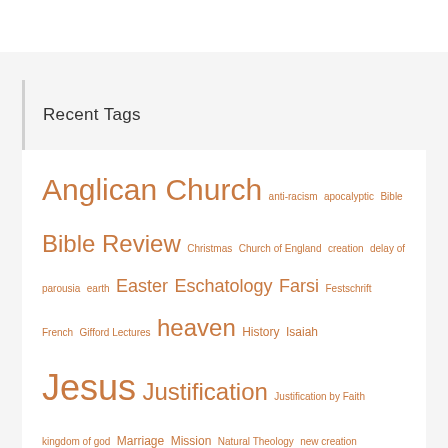Recent Tags
Anglican Church anti-racism apocalyptic Bible Bible Review Christmas Church of England creation delay of parousia earth Easter Eschatology Farsi Festschrift French Gifford Lectures heaven History Isaiah Jesus Justification Justification by Faith kingdom of god Marriage Mission Natural Theology new creation New Dictionary of Theology Pandemic Paul Philosophy Portuguese Resurrection Scripture son of man Spanish Systematic Theology Wrightsaid Q&A